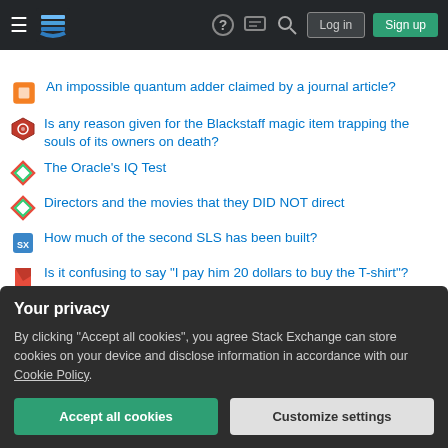Stack Exchange navigation bar with hamburger menu, logo, help, chat, search icons, Log in and Sign up buttons
An impossible quantum adder claimed by a journal article?
Is any reason given for the Blackstaff magic item trapping the souls of its owners on death?
The Oracle's IQ Test
Directors and the movies that they DID NOT direct
How much of the second SLS has been built?
Is it confusing to say "I pay him 20 dollars to buy the T-shirt"?
How does Black Bolt eat?
Why don't open source licenses give a more specific definition of "derivative works" to reduce ambiguity?
Your privacy
By clicking "Accept all cookies", you agree Stack Exchange can store cookies on your device and disclose information in accordance with our Cookie Policy.
Accept all cookies   Customize settings
Is it legal to sell security vulnerabilities you found while working with a